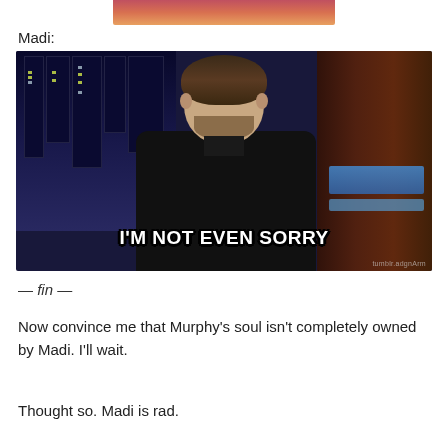[Figure (photo): Partial image strip at top, showing bottom edge of a photo with pink/orange tones]
Madi:
[Figure (photo): Photo of a man with beard in dark jacket on a talk show set, with text overlay reading 'I'M NOT EVEN SORRY']
— fin —
Now convince me that Murphy's soul isn't completely owned by Madi. I'll wait.
Thought so. Madi is rad.